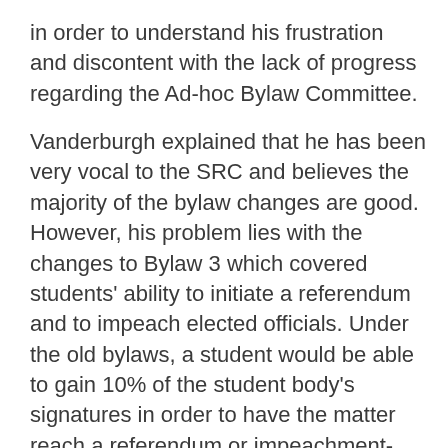in order to understand his frustration and discontent with the lack of progress regarding the Ad-hoc Bylaw Committee.
Vanderburgh explained that he has been very vocal to the SRC and believes the majority of the bylaw changes are good. However, his problem lies with the changes to Bylaw 3 which covered students' ability to initiate a referendum and to impeach elected officials. Under the old bylaws, a student would be able to gain 10% of the student body's signatures in order to have the matter reach a referendum or impeachment- the new changes to Bylaw 3 eliminate students' ability to do so. Vanderburgh believes that the ability to